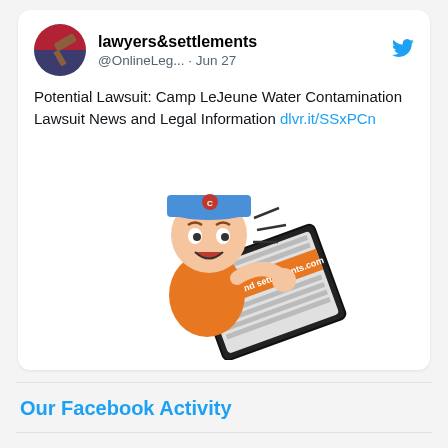[Figure (screenshot): Tweet card from @lawyers&settlements showing a tweet about Camp LeJeune Water Contamination Lawsuit with a cartoon newsboy illustration]
Potential Lawsuit: Camp LeJeune Water Contamination Lawsuit News and Legal Information dlvr.it/SSxPCn
[Figure (illustration): Cartoon newsboy holding a newspaper with lawyers and settlements branding]
Our Facebook Activity
Archive by Category
Accidents (24)